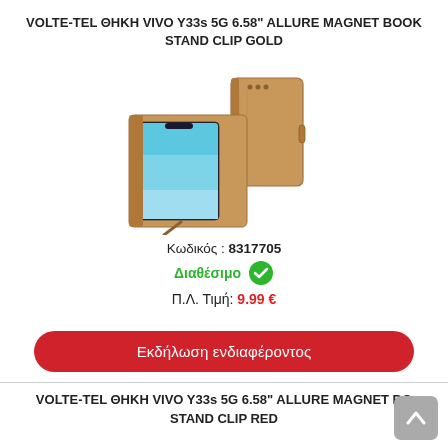VOLTE-TEL ΘΗΚΗ VIVO Y33s 5G 6.58" ALLURE MAGNET BOOK STAND CLIP GOLD
[Figure (photo): Product image showing a tan/brown leather book-style phone case for Vivo Y33s, displayed both open (as a stand with phone) and closed (wallet style).]
Κωδικός : 8317705
Διαθέσιμο
Π.Λ. Τιμή: 9.99 €
Εκδήλωση ενδιαφέροντος
VOLTE-TEL ΘΗΚΗ VIVO Y33s 5G 6.58" ALLURE MAGNET BOOK STAND CLIP RED